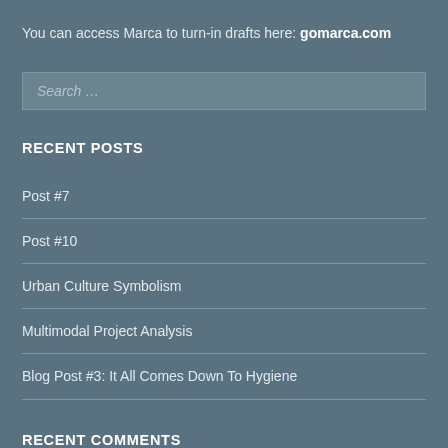You can access Marca to turn-in drafts here: gomarca.com
RECENT POSTS
Post #7
Post #10
Urban Culture Symbolism
Multimodal Project Analysis
Blog Post #3: It All Comes Down To Hygiene
RECENT COMMENTS